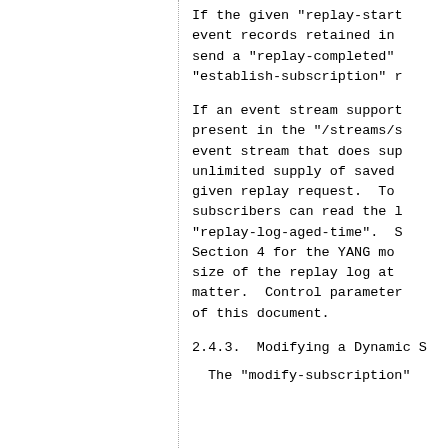If the given "replay-start" event records retained in send a "replay-completed" "establish-subscription" r
If an event stream support present in the "/streams/s event stream that does sup unlimited supply of saved given replay request. To subscribers can read the l "replay-log-aged-time". S Section 4 for the YANG mo size of the replay log at matter. Control parameter of this document.
2.4.3.  Modifying a Dynamic S
The "modify-subscription"